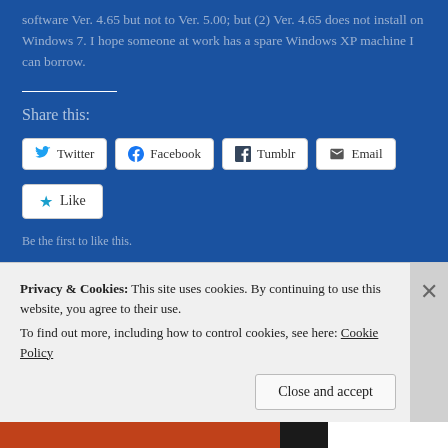software Ver. 4.65 but not to Ver. 5.00; but (2) Ver. 4.65 does not install on Windows 7. I hope someone at work has a spare Windows XP machine I can borrow.
Share this:
Twitter  Facebook  Tumblr  Email
Like
Be the first to like this.
Categories: field work, Oceanography / Tags: LISST / Permalink.
Privacy & Cookies: This site uses cookies. By continuing to use this website, you agree to their use. To find out more, including how to control cookies, see here: Cookie Policy
Close and accept